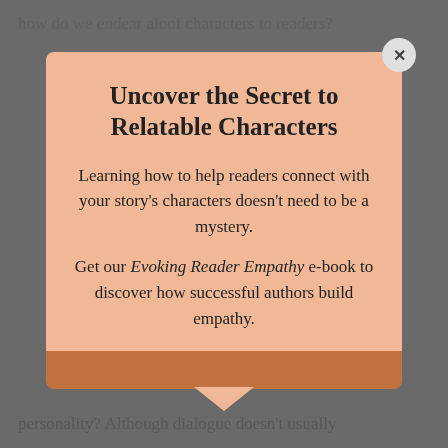how do we endear aloof characters to readers?
[Figure (screenshot): Modal popup dialog with salmon/peach background containing a book promotion offer. Title reads 'Uncover the Secret to Relatable Characters'. Body text explains learning how to connect readers with story characters. Promotes 'Evoking Reader Empathy' e-book. Has a close button (X) in top-right corner and a terracotta bottom bar with downward arrow.]
Uncover the Secret to Relatable Characters
Learning how to help readers connect with your story's characters doesn't need to be a mystery.
Get our Evoking Reader Empathy e-book to discover how successful authors build empathy.
personality? Although dialogue doesn't usually